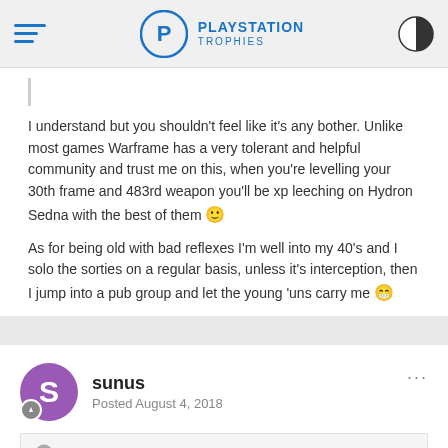PLAYSTATION TROPHIES
I understand but you shouldn't feel like it's any bother. Unlike most games Warframe has a very tolerant and helpful community and trust me on this, when you're levelling your 30th frame and 483rd weapon you'll be xp leeching on Hydron Sedna with the best of them 🙂
As for being old with bad reflexes I'm well into my 40's and I solo the sorties on a regular basis, unless it's interception, then I jump into a pub group and let the young 'uns carry me 😁
sunus
Posted August 4, 2018
Shigurui said: